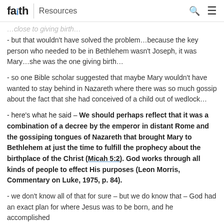faith Resources
…close to giving birth…
- but that wouldn't have solved the problem…because the key person who needed to be in Bethlehem wasn't Joseph, it was Mary…she was the one giving birth…
- so one Bible scholar suggested that maybe Mary wouldn't have wanted to stay behind in Nazareth where there was so much gossip about the fact that she had conceived of a child out of wedlock…
- here's what he said – We should perhaps reflect that it was a combination of a decree by the emperor in distant Rome and the gossiping tongues of Nazareth that brought Mary to Bethlehem at just the time to fulfill the prophecy about the birthplace of the Christ (Micah 5:2). God works through all kinds of people to effect His purposes (Leon Morris, Commentary on Luke, 1975, p. 84).
- we don't know all of that for sure – but we do know that – God had an exact plan for where Jesus was to be born, and he accomplished